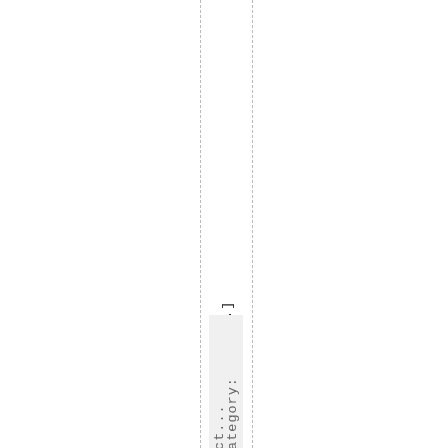that enough votes [...]
Category: act...